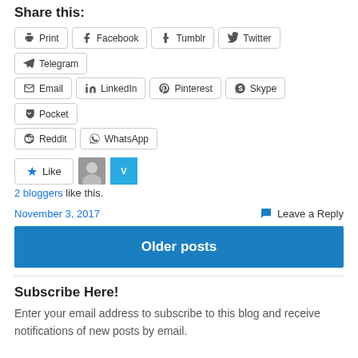Share this:
Print | Facebook | Tumblr | Twitter | Telegram | Email | LinkedIn | Pinterest | Skype | Pocket | Reddit | WhatsApp
[Figure (other): Like button with star icon and two blogger avatars]
2 bloggers like this.
November 3, 2017    Leave a Reply
Older posts
Subscribe Here!
Enter your email address to subscribe to this blog and receive notifications of new posts by email.